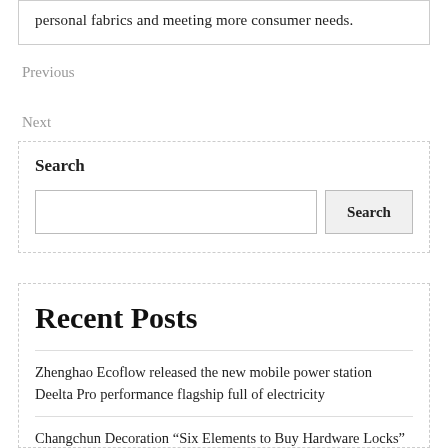personal fabrics and meeting more consumer needs.
Previous
Next
Search
Search
Recent Posts
Zhenghao Ecoflow released the new mobile power station Deelta Pro performance flagship full of electricity
Changchun Decoration “Six Elements to Buy Hardware Locks”